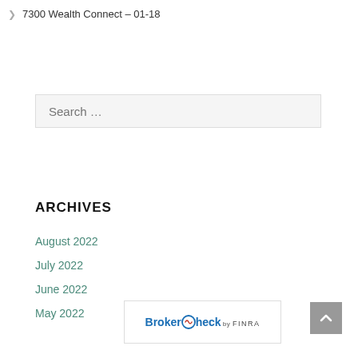> 7300 Wealth Connect – 01-18
Search …
ARCHIVES
August 2022
July 2022
June 2022
May 2022
[Figure (logo): BrokerCheck by FINRA logo in a bordered rectangle]